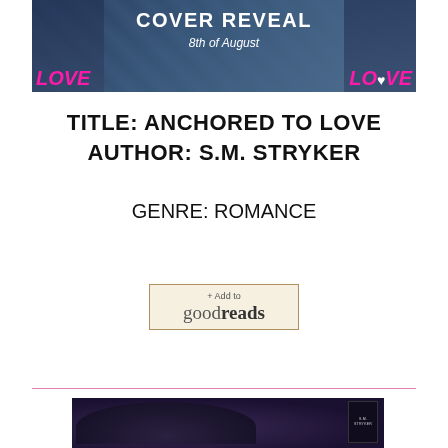[Figure (illustration): Cover reveal banner for 'Anchored to Love' book. Dark blue/teal background with tattoo-style artwork, text 'COVER REVEAL 8th of August', and 'LOVE' in pink on both sides.]
TITLE: ANCHORED TO LOVE
AUTHOR: S.M. STRYKER
GENRE: ROMANCE
[Figure (screenshot): Goodreads '+ Add to goodreads' button with beige/cream background and brown border.]
[Figure (illustration): Bottom portion of a dark moody book cover image showing S.M. STRYKER book 'Anchored to Love'.]